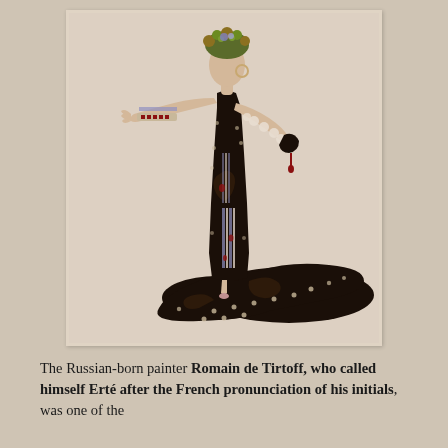[Figure (illustration): Art Deco fashion illustration by Erté showing an elegant woman in a dramatic black gown with an extremely long train that sweeps and curls on the ground. The figure wears a floral headdress, holds her right arm extended with a decorative patterned sleeve, and the gown features ornate swirling embellishments and pearl-like dots. She holds a small dark handbag in her left hand.]
The Russian-born painter Romain de Tirtoff, who called himself Erté after the French pronunciation of his initials, was one of the foremost fashion and stage designers of the